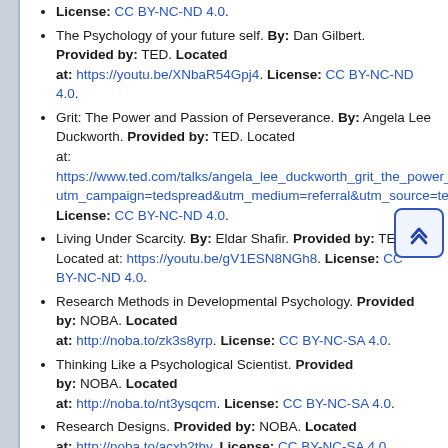License: CC BY-NC-ND 4.0.
The Psychology of your future self. By: Dan Gilbert. Provided by: TED. Located at: https://youtu.be/XNbaR54Gpj4. License: CC BY-NC-ND 4.0.
Grit: The Power and Passion of Perseverance. By: Angela Lee Duckworth. Provided by: TED. Located at: https://www.ted.com/talks/angela_lee_duckworth_grit_the_power_utm_campaign=tedspread&utm_medium=referral&utm_source=tedco. License: CC BY-NC-ND 4.0.
Living Under Scarcity. By: Eldar Shafir. Provided by: TED. Located at: https://youtu.be/gV1ESN8NGh8. License: CC BY-NC-ND 4.0.
Research Methods in Developmental Psychology. Provided by: NOBA. Located at: http://noba.to/zk3s8yrp. License: CC BY-NC-SA 4.0.
Thinking Like a Psychological Scientist. Provided by: NOBA. Located at: http://noba.to/nt3ysqcm. License: CC BY-NC-SA 4.0.
Research Designs. Provided by: NOBA. Located at: http://noba.to/acxb2thy. License: CC BY-NC-SA 4.0.